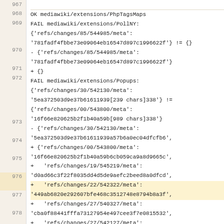967 (partial)
968 OK mediawiki/extensions/PhpTagsMaps
969 FAIL mediawiki/extensions/PollNY:
{'refs/changes/85/544985/meta': '781fadf4fbbe73e09064eb16547d897c1996622f'} != {}
970 - {'refs/changes/85/544985/meta': '781fadf4fbbe73e09064eb16547d897c1996622f'}
971 + {}
972 FAIL mediawiki/extensions/Popups:
{'refs/changes/30/542130/meta': '5ea372503d9e37b61611939[239 chars]338'} != {'refs/changes/00/543800/meta': '16f66e820625b2f1b40a59b[989 chars]338'}
973 - {'refs/changes/30/542130/meta': '5ea372503d9e37b61611939a57b6a0ec04dfcfb6',
974 + {'refs/changes/00/543800/meta': '16f66e820625b2f1b40a59b6cb059ca9a8d9665c',
975 +   'refs/changes/19/545219/meta': 'd0ad66c3f22f8035dd4d5de9aefc2beed8a0dfcd',
976 +   'refs/changes/22/542322/meta': '449ab6820e292607bfe468c3512748e8794b8a3f',
977 +   'refs/changes/27/540327/meta': 'cba0f88441fffa73127954e497cee3f7e0815532',
978 +   'refs/changes/27/542127/meta': 'f3243128697d311074a0d067bd3a36fc42ad1d42',
979 +   'refs/changes/30/542130/meta': '94819ac610595c1a1e496b79197c1a542e32e8dc',
980 +   'refs/changes/41/538641/meta':